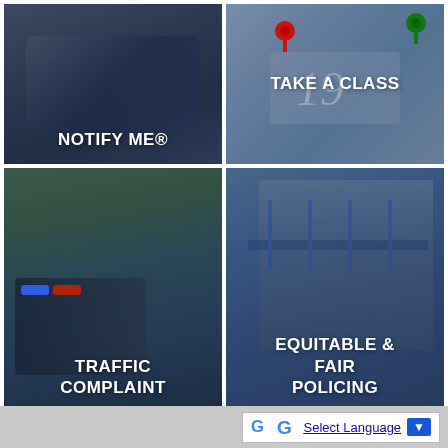[Figure (photo): Person using a smartphone, overlaid with blue tint, showing 'NOTIFY ME®' text]
[Figure (photo): Calendar with push pins in red and green, overlaid with blue tint, showing 'TAKE A CLASS' text]
[Figure (photo): Police car with lights on a residential street, overlaid with blue tint, showing 'TRAFFIC COMPLAINT' text]
[Figure (photo): Modern building exterior at dusk, overlaid with blue tint, showing 'EQUITABLE & FAIR POLICING' text]
G Select Language ▼